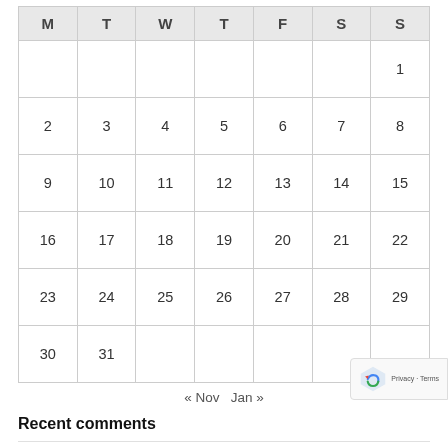| M | T | W | T | F | S | S |
| --- | --- | --- | --- | --- | --- | --- |
|  |  |  |  |  |  | 1 |
| 2 | 3 | 4 | 5 | 6 | 7 | 8 |
| 9 | 10 | 11 | 12 | 13 | 14 | 15 |
| 16 | 17 | 18 | 19 | 20 | 21 | 22 |
| 23 | 24 | 25 | 26 | 27 | 28 | 29 |
| 30 | 31 |  |  |  |  |  |
« Nov   Jan »
Recent comments
Indi on ResearchCo finds amazing number of atheists in Canada
May 8, 2022
Indi on Weekly Update: 16-Apr-2022 to 22-Apr-2022
May 8, 2022